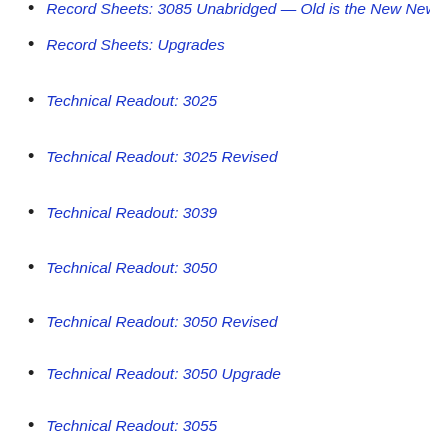Record Sheets: 3085 Unabridged — Old is the New New
Record Sheets: Upgrades
Technical Readout: 3025
Technical Readout: 3025 Revised
Technical Readout: 3039
Technical Readout: 3050
Technical Readout: 3050 Revised
Technical Readout: 3050 Upgrade
Technical Readout: 3055
Technical Readout: 3055 Upgrade
Technical Readout: 3085
Categories:  Medium BattleMechs
Inner Sphere BattleMechs
Inner Sphere BattleMechs
45 ton BattleMechs